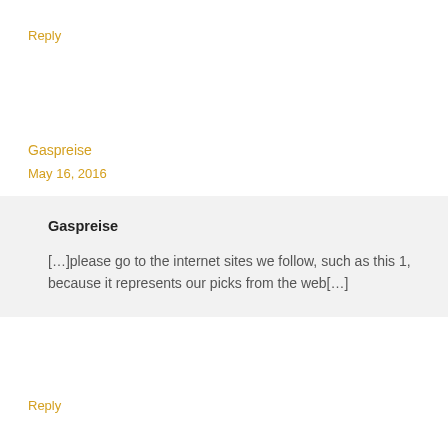Reply
Gaspreise
May 16, 2016
Gaspreise
[…]please go to the internet sites we follow, such as this 1, because it represents our picks from the web[…]
Reply